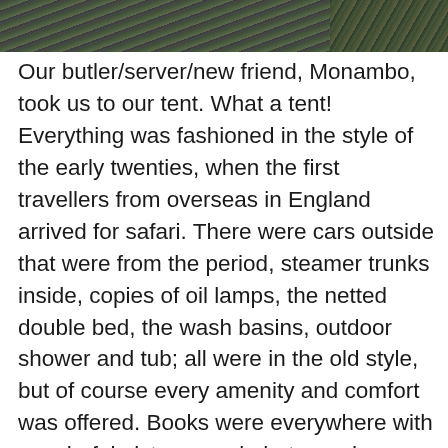[Figure (photo): Partial view of two photographs at the top of the page: a larger image on the left showing what appears to be wooden decking or planks in dark tones, and a smaller image on the right with dark green/nature tones.]
Our butler/server/new friend, Monambo, took us to our tent. What a tent! Everything was fashioned in the style of the early twenties, when the first travellers from overseas in England arrived for safari. There were cars outside that were from the period, steamer trunks inside, copies of oil lamps, the netted double bed, the wash basins, outdoor shower and tub; all were in the old style, but of course every amenity and comfort was offered. Books were everywhere with wonderful pictures and photographs on the walls. We were immersed in another era, well almost. There were dark covers for the windows at night so as not to attract animals or tiny little flying critters. We had bottles of water for our drinking and to clean our teeth. No water was to be used from the tap for drinking. This was the